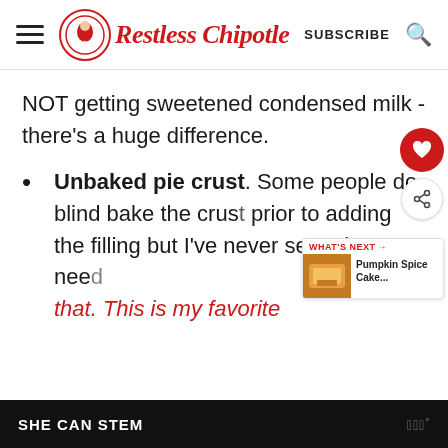Restless Chipotle — SUBSCRIBE
NOT getting sweetened condensed milk - there's a huge difference.
Unbaked pie crust. Some people do blind bake the crust prior to adding the filling but I've never seen the need to do that. This is my favorite
SHE CAN STEM